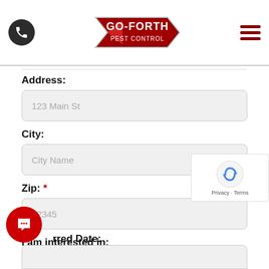[Figure (logo): Go-Forth Pest Control logo with red arrow shape and phone icon, hamburger menu icon in header]
Address:
123 Main St
City:
City Name
Zip: *
12345
I am interested in:
Blog Post Answering Raleigh S Most Crucial Tick Quest...
rred Date: